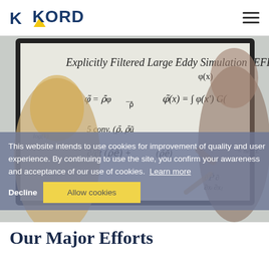KORD
[Figure (photo): Two people writing mathematical equations (Explicitly Filtered Large Eddy Simulation / EFLES) on a whiteboard]
This website intends to use cookies for improvement of quality and user experience. By continuing to use the site, you confirm your awareness and acceptance of our use of cookies. Learn more
Decline
Allow cookies
Our Major Efforts